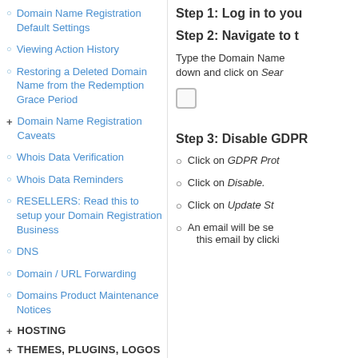Domain Name Registration Default Settings
Viewing Action History
Restoring a Deleted Domain Name from the Redemption Grace Period
Domain Name Registration Caveats
Whois Data Verification
Whois Data Reminders
RESELLERS: Read this to setup your Domain Registration Business
DNS
Domain / URL Forwarding
Domains Product Maintenance Notices
HOSTING
THEMES, PLUGINS, LOGOS
SITELOCK
Step 1: Log in to you
Step 2: Navigate to t
Type the Domain Name down and click on Sear
Step 3: Disable GDPR
Click on GDPR Prot
Click on Disable.
Click on Update St
An email will be se this email by clicki